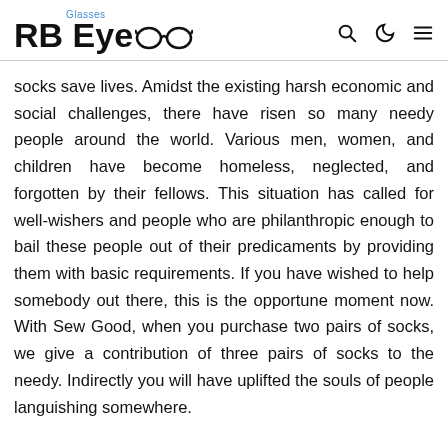RB EyeGlasses [logo with glasses icon, search, moon, menu icons]
socks save lives. Amidst the existing harsh economic and social challenges, there have risen so many needy people around the world. Various men, women, and children have become homeless, neglected, and forgotten by their fellows. This situation has called for well-wishers and people who are philanthropic enough to bail these people out of their predicaments by providing them with basic requirements. If you have wished to help somebody out there, this is the opportune moment now. With Sew Good, when you purchase two pairs of socks, we give a contribution of three pairs of socks to the needy. Indirectly you will have uplifted the souls of people languishing somewhere.